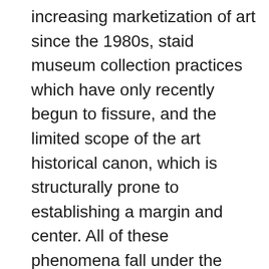increasing marketization of art since the 1980s, staid museum collection practices which have only recently begun to fissure, and the limited scope of the art historical canon, which is structurally prone to establishing a margin and center. All of these phenomena fall under the volatile constellation of race, gender and sexual politics in American society, which plays out in the art world just as they do elsewhere. History tells us the concerns of abstraction are typically limited to this cultural schema, prioritizing formal inquiry while distancing the body from their frame and inviting only some folks to the party. Art historical colloquialisms further limit abstraction's bounds—terms like “hard-edged,”